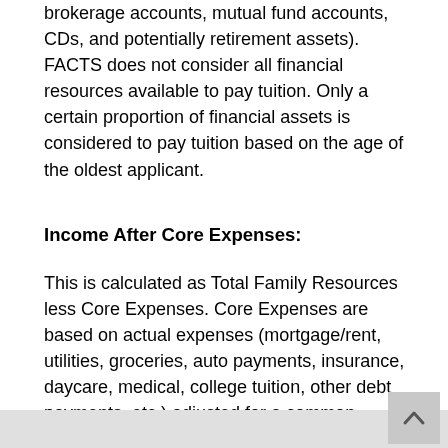accounts, checking accounts, 529 plans, brokerage accounts, mutual fund accounts, CDs, and potentially retirement assets). FACTS does not consider all financial resources available to pay tuition. Only a certain proportion of financial assets is considered to pay tuition based on the age of the oldest applicant.
Income After Core Expenses:
This is calculated as Total Family Resources less Core Expenses. Core Expenses are based on actual expenses (mortgage/rent, utilities, groceries, auto payments, insurance, daycare, medical, college tuition, other debt payments, etc.) adjusted for a common standard of living to the local area.